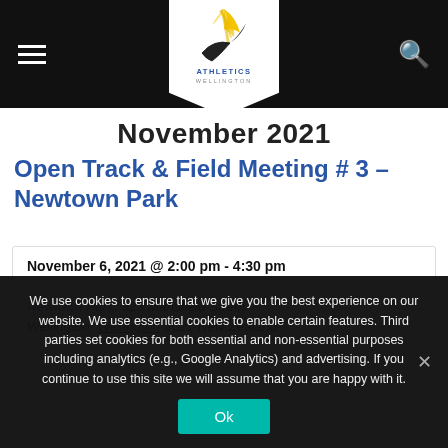Athletics Wellington – navigation header
November 2021
Open Track & Field Meeting # 3 – Newtown Park
November 6, 2021 @ 2:00 pm - 4:30 pm
Newtown Park, 323 Mansfield Street Wellington, Wellington 6021 New Zealand
We use cookies to ensure that we give you the best experience on our website. We use essential cookies to enable certain features. Third parties set cookies for both essential and non-essential purposes including analytics (e.g., Google Analytics) and advertising. If you continue to use this site we will assume that you are happy with it.